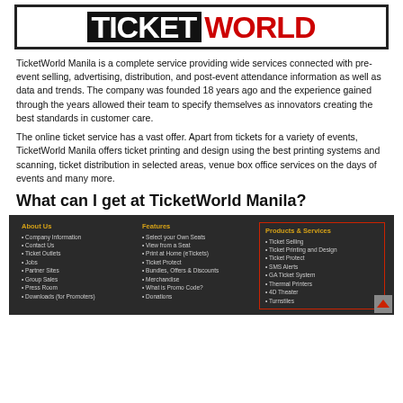[Figure (logo): TicketWorld logo with TICKET in white on black background and WORLD in red, inside a black border box]
TicketWorld Manila is a complete service providing wide services connected with pre-event selling, advertising, distribution, and post-event attendance information as well as data and trends. The company was founded 18 years ago and the experience gained through the years allowed their team to specify themselves as innovators creating the best standards in customer care.
The online ticket service has a vast offer. Apart from tickets for a variety of events, TicketWorld Manila offers ticket printing and design using the best printing systems and scanning, ticket distribution in selected areas, venue box office services on the days of events and many more.
What can I get at TicketWorld Manila?
[Figure (screenshot): Dark footer navigation bar with three columns: About Us (yellow heading) listing Company Information, Contact Us, Ticket Outlets, Jobs, Partner Sites, Group Sales, Press Room, Downloads (for Promoters); Features (yellow heading) listing Select your Own Seats, View from a Seat, Print at Home (eTickets), Ticket Protect, Bundles, Offers & Discounts, Merchandise, What is Promo Code?, Donations; Products & Services (yellow heading, highlighted with red border) listing Ticket Selling, Ticket Printing and Design, Ticket Protect, SMS Alerts, GA Ticket System, Thermal Printers, 4D Theater, Turnstiles]